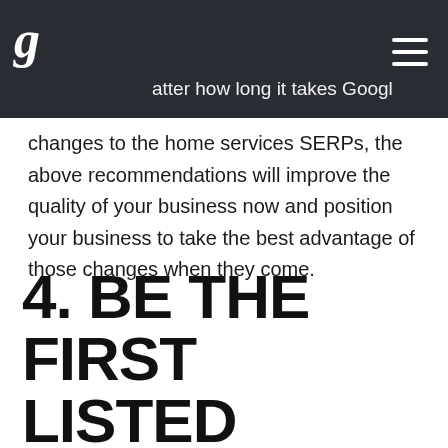g
atter how long it takes Google to roll out the changes to the home services SERPs, the above recommendations will improve the quality of your business now and position your business to take the best advantage of those changes when they come.
4. BE THE FIRST LISTED WHEN GOOGLE HOME SERVICES GOES LIVE IN YOUR MARKET